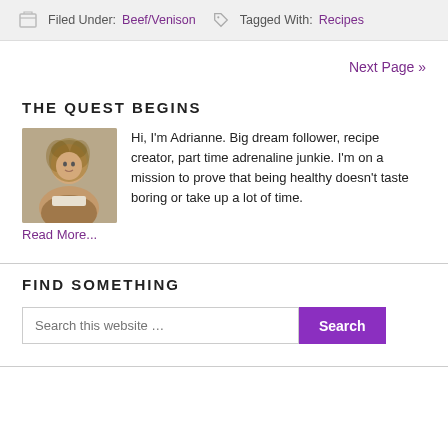Filed Under: Beef/Venison  Tagged With: Recipes
Next Page »
THE QUEST BEGINS
[Figure (photo): Portrait photo of Adrianne, a woman with curly hair, smiling.]
Hi, I'm Adrianne. Big dream follower, recipe creator, part time adrenaline junkie. I'm on a mission to prove that being healthy doesn't taste boring or take up a lot of time.
Read More...
FIND SOMETHING
Search this website ...